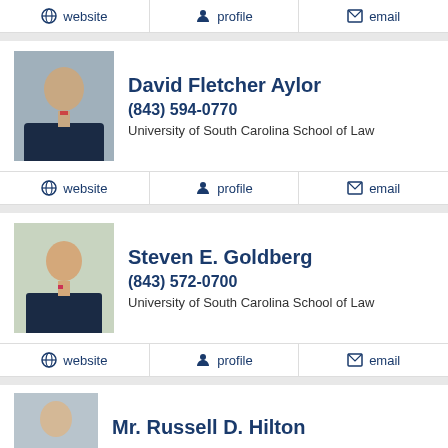website | profile | email
David Fletcher Aylor
(843) 594-0770
University of South Carolina School of Law
website | profile | email
Steven E. Goldberg
(843) 572-0700
University of South Carolina School of Law
website | profile | email
Mr. Russell D. Hilton